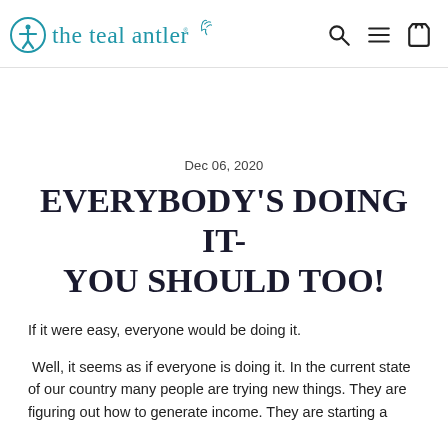the teal antler
Dec 06, 2020
EVERYBODY'S DOING IT- YOU SHOULD TOO!
If it were easy, everyone would be doing it.
Well, it seems as if everyone is doing it. In the current state of our country many people are trying new things. They are figuring out how to generate income. They are starting a